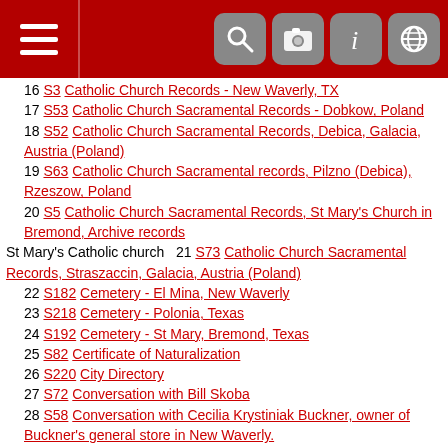App header with navigation icons
16 S3 Catholic Church Records - New Waverly, TX
17 S53 Catholic Church Sacramental Records - Dobkow, Poland
18 S52 Catholic Church Sacramental Records, Debica, Galacia, Austria (Poland)
19 S63 Catholic Church Sacramental records, Pilzno (Debica), Rzeszow, Poland
20 S5 Catholic Church Sacramental Records, St Mary's Church in Bremond, Archive records
St Mary's Catholic church  21 S73 Catholic Church Sacramental Records, Straszaccin, Galacia, Austria (Poland)
22 S182 Cemetery - El Mina, New Waverly
23 S218 Cemetery - Polonia, Texas
24 S192 Cemetery - St Mary, Bremond, Texas
25 S82 Certificate of Naturalization
26 S220 City Directory
27 S72 Conversation with Bill Skoba
28 S58 Conversation with Cecilia Krystiniak Buckner, owner of Buckner's general store in New Waverly.
Cecilia Clara Krystyniak  29 S70 Conversation with Eva Mae LUCHER TILLER
30 S67 Conversation with Father Norbert J. Maduzia, Jr
Norbert Joseph Maduzia Jr  31 S12 Conversation with Maria Jacob Smock
Maria Doloris Jacob  32 S59 Conversation with Teana Schelski
33 S51 Conversation with Vickie Gregory
Victoria Gregory  34 S71 Conversation with Virginia Bielamowicz
35 S79 Conversation with Walter Smock
36 S220 Cook County Birth Records